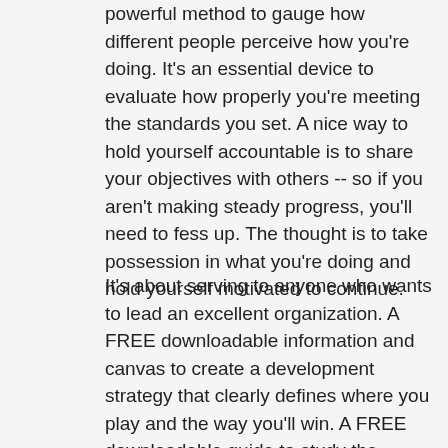powerful method to gauge how different people perceive how you're doing. It's an essential device to evaluate how properly you're meeting the standards you set. A nice way to hold yourself accountable is to share your objectives with others -- so if you aren't making steady progress, you'll need to fess up. The thought is to take possession in what you're doing and hold yourself motivated to continue.
It's about serving to anyone who wants to lead an excellent organization. A FREE downloadable information and canvas to create a development strategy that clearly defines where you play and the way you'll win. A FREE downloadable guide to study the basics of Key Performance Indicators with a hundred instance metric sources for ever department of your organization. Can you refer some article specific and relevant to a